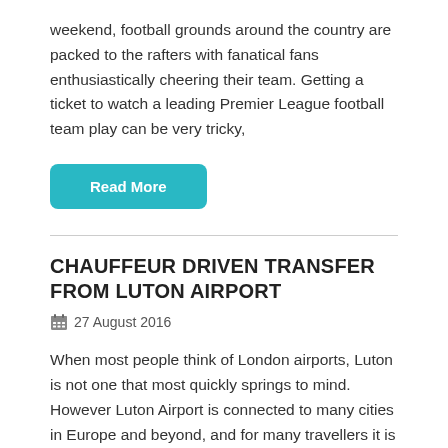weekend, football grounds around the country are packed to the rafters with fanatical fans enthusiastically cheering their team. Getting a ticket to watch a leading Premier League football team play can be very tricky,
Read More
CHAUFFEUR DRIVEN TRANSFER FROM LUTON AIRPORT
27 August 2016
When most people think of London airports, Luton is not one that most quickly springs to mind. However Luton Airport is connected to many cities in Europe and beyond, and for many travellers it is the most convenient entry point for London. Chauffeur One is pleased to announce that its unrivalled airport pick up service